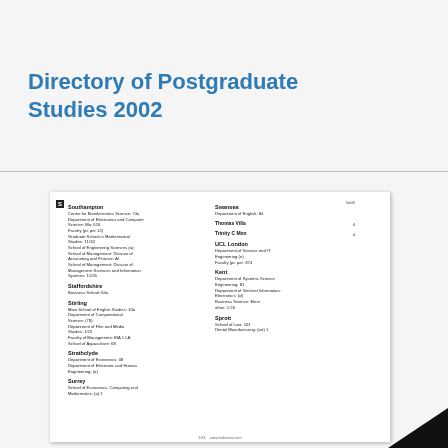Directory of Postgraduate Studies 2002
[Figure (screenshot): Scanned page from the Directory of Postgraduate Studies 2002, showing a two-column index listing with entries for Southampton, Staffordshire, Stirling, Strathclyde, Surrey under the left column, and entries for Swansea, Thomas Villa, Trinity C'Mon, UCL London, Kent, Sprott under the right column. Each entry lists department names and faculty numbers.]